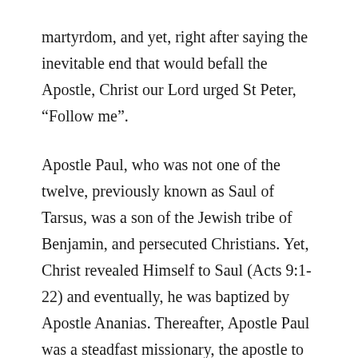martyrdom, and yet, right after saying the inevitable end that would befall the Apostle, Christ our Lord urged St Peter, “Follow me”.
Apostle Paul, who was not one of the twelve, previously known as Saul of Tarsus, was a son of the Jewish tribe of Benjamin, and persecuted Christians. Yet, Christ revealed Himself to Saul (Acts 9:1-22) and eventually, he was baptized by Apostle Ananias. Thereafter, Apostle Paul was a steadfast missionary, the apostle to the Gentiles, eventually martyred, and his Epistles became canonized within Holy Scripture for us today. Apostle Paul who easily have not walked the road of following Christ, but he did, and spent his entire renewed life bearing the burdens of his evangelism to the world.